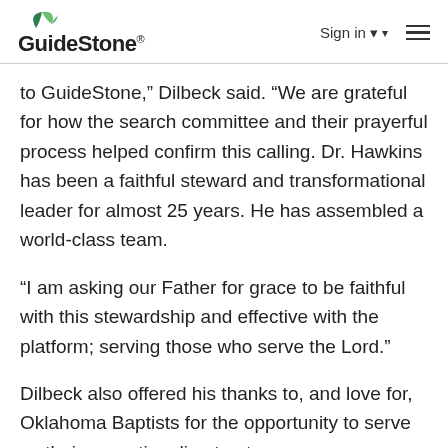GuideStone | Sign in | Menu
to GuideStone,” Dilbeck said. “We are grateful for how the search committee and their prayerful process helped confirm this calling. Dr. Hawkins has been a faithful steward and transformational leader for almost 25 years. He has assembled a world-class team.
“I am asking our Father for grace to be faithful with this stewardship and effective with the platform; serving those who serve the Lord.”
Dilbeck also offered his thanks to, and love for, Oklahoma Baptists for the opportunity to serve as their executive director, treasurer.